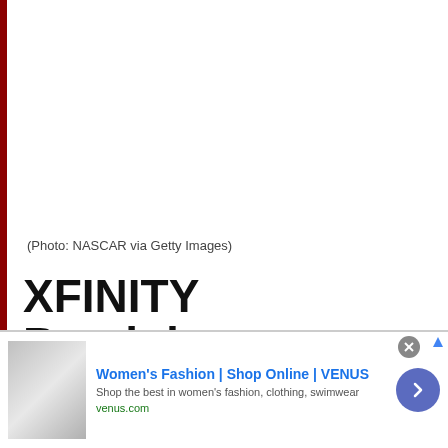[Figure (photo): White/empty photo area with dark red left border bar]
(Photo: NASCAR via Getty Images)
XFINITY Breakdown: Sadler Snaps Two-Year Drought at Talladega
[Figure (screenshot): Advertisement banner: Women's Fashion | Shop Online | VENUS. Shop the best in women's fashion, clothing, swimwear. venus.com]